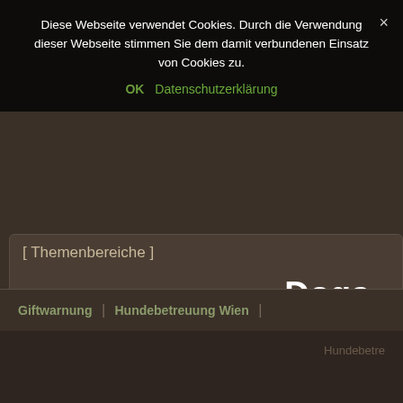Diese Webseite verwendet Cookies. Durch die Verwendung dieser Webseite stimmen Sie dem damit verbundenen Einsatz von Cookies zu.
OK  Datenschutzerklärung
[ Themenbereiche ]
Betreuung Buchstabe Cats Dog Dogs Dogsitter Dogwalker Betreuung Stieglecker Freigänger Betreuung Wien Freigängerbetreuung Wie Stieglecker Haushunde Betreuung Wien Haushun Hauskatzenbetreuung Stieglecker Hauskatzenbetreuung Wien Hauskatze Hundetraining Hundewelpen Katzen Katzenlexikon Katzennamen Lexikon n Stieglecker Wohnungskatzen Betreuung Stieglecker Wohnungskatzenbetreuung Katzen Betreuung Wien
Giftwarnung | Hundebetreuung Wien |
Hundebetre